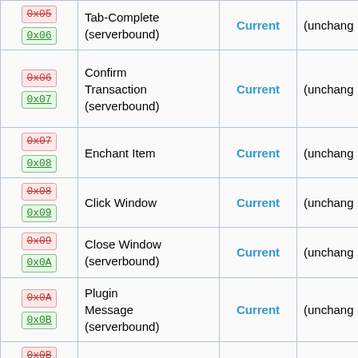| ID (old/new) | Packet Name | Status | Notes |
| --- | --- | --- | --- |
| 0x05 / 0x06 | Tab-Complete (serverbound) | Current | (unchanged) |
| 0x06 / 0x07 | Confirm Transaction (serverbound) | Current | (unchanged) |
| 0x07 / 0x08 | Enchant Item | Current | (unchanged) |
| 0x08 / 0x09 | Click Window | Current | (unchanged) |
| 0x09 / 0x0A | Close Window (serverbound) | Current | (unchanged) |
| 0x0A / 0x0B | Plugin Message (serverbound) | Current | (unchanged) |
| 0x0B / 0x0C | Edit Book | Current | (unchanged) |
| 0x0C / 0x0D | Query Entity NBT | Current | (unchanged) |